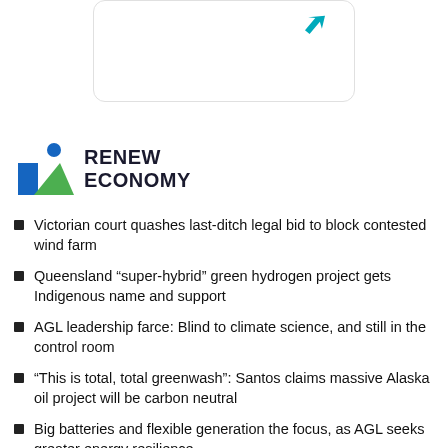[Figure (other): Rounded rectangle card with a teal arrow/cursor icon visible at top right corner]
[Figure (logo): RenewEconomy logo: blue circle, blue square and green triangle icon with bold text RENEW ECONOMY]
Victorian court quashes last-ditch legal bid to block contested wind farm
Queensland “super-hybrid” green hydrogen project gets Indigenous name and support
AGL leadership farce: Blind to climate science, and still in the control room
“This is total, total greenwash”: Santos claims massive Alaska oil project will be carbon neutral
Big batteries and flexible generation the focus, as AGL seeks greater energy resilience